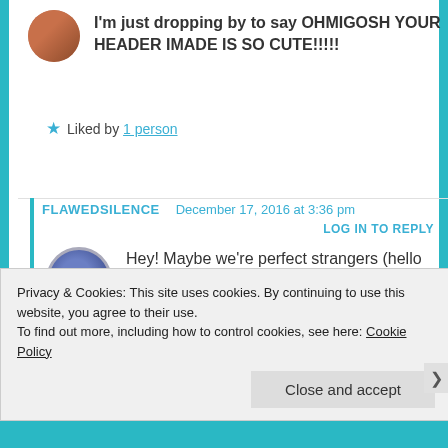I'm just dropping by to say OHMIGOSH YOUR HEADER IMADE IS SO CUTE!!!!!
★ Liked by 1 person
FLAWEDSILENCE   December 17, 2016 at 3:36 pm
LOG IN TO REPLY
Hey! Maybe we're perfect strangers (hello there) and THANK YOU SO MUCH! I wanted to give my blog a bit more creativity (I don't know how well that turned out) but aw THANK YOU
Privacy & Cookies: This site uses cookies. By continuing to use this website, you agree to their use.
To find out more, including how to control cookies, see here: Cookie Policy
Close and accept